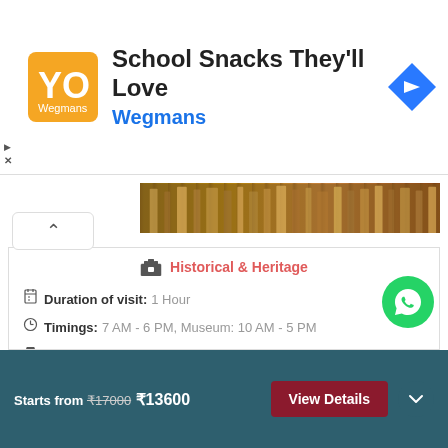[Figure (screenshot): Advertisement banner for Wegmans 'School Snacks They'll Love' with orange logo, navigation icon]
School Snacks They'll Love
Wegmans
[Figure (photo): Temple/historical site image banner - brown/golden architecture]
Historical & Heritage
Duration of visit: 1 Hour
Timings: 7 AM - 6 PM, Museum: 10 AM - 5 PM
Entry Fee: Rs. 40 for Indians, Rs. 200 for Foreigners & Rs. 300 for Guide
At a distance of 28 km from Mehsana, 35 km from Patan and 100 km from Ahmedabad, Modhera Sun Temple is an ancient Hindu temple located at Modhera village near Patan in Gujarat. Situated on the banks of River Pushpavati, it is one of the popular places of heritage in India, and among the most include places in Patan and here
View Details
Starts from ₹17000 ₹13600  View Details